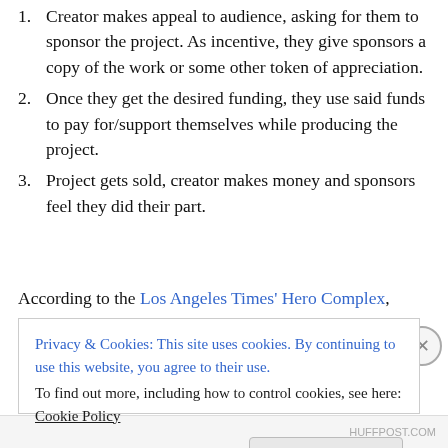Creator makes appeal to audience, asking for them to sponsor the project. As incentive, they give sponsors a copy of the work or some other token of appreciation.
Once they get the desired funding, they use said funds to pay for/support themselves while producing the project.
Project gets sold, creator makes money and sponsors feel they did their part.
According to the Los Angeles Times' Hero Complex,
Privacy & Cookies: This site uses cookies. By continuing to use this website, you agree to their use. To find out more, including how to control cookies, see here: Cookie Policy
Close and accept